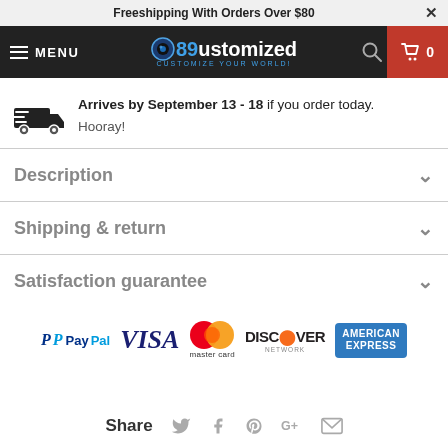Freeshipping With Orders Over $80
[Figure (screenshot): Navigation bar with hamburger menu, 89ustomized logo, search icon, and cart icon]
Arrives by September 13 - 18 if you order today. Hooray!
Description
Shipping & return
Satisfaction guarantee
[Figure (logo): Payment method logos: PayPal, VISA, Mastercard, Discover Network, American Express]
Share